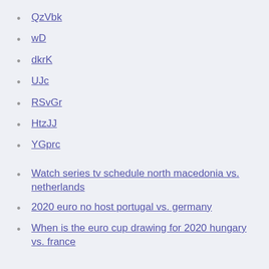QzVbk
wD
dkrK
UJc
RSvGr
HtzJJ
YGprc
Watch series tv schedule north macedonia vs. netherlands
2020 euro no host portugal vs. germany
When is the euro cup drawing for 2020 hungary vs. france